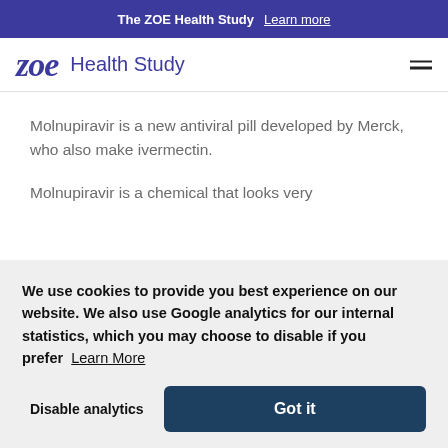The ZOE Health Study  Learn more
[Figure (logo): ZOE Health Study logo with italic bold 'zoe' text and 'Health Study' label]
Molnupiravir is a new antiviral pill developed by Merck, who also make ivermectin.
Molnupiravir is a chemical that looks very
We use cookies to provide you best experience on our website. We also use Google analytics for our internal statistics, which you may choose to disable if you prefer  Learn More
Disable analytics
Got it